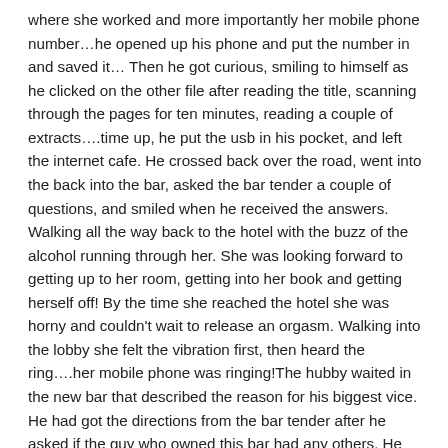where she worked and more importantly her mobile phone number…he opened up his phone and put the number in and saved it… Then he got curious, smiling to himself as he clicked on the other file after reading the title, scanning through the pages for ten minutes, reading a couple of extracts….time up, he put the usb in his pocket, and left the internet cafe. He crossed back over the road, went into the back into the bar, asked the bar tender a couple of questions, and smiled when he received the answers. Walking all the way back to the hotel with the buzz of the alcohol running through her. She was looking forward to getting up to her room, getting into her book and getting herself off! By the time she reached the hotel she was horny and couldn't wait to release an orgasm. Walking into the lobby she felt the vibration first, then heard the ring….her mobile phone was ringing!The hubby waited in the new bar that described the reason for his biggest vice. He had got the directions from the bar tender after he asked if the guy who owned this bar had any others. He believed everything happened for a reason, that's why he wanted to see if there was maybe another bar with another funny name that could bring